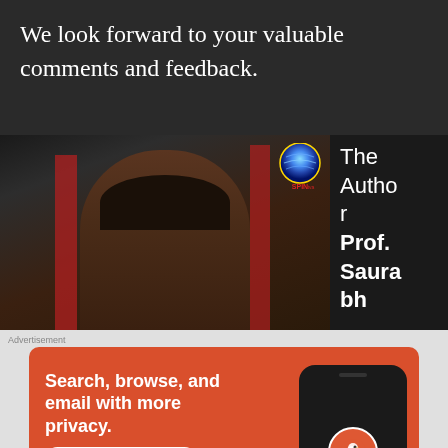We look forward to your valuable comments and feedback.
[Figure (photo): Video thumbnail showing a man speaking at a podium with red flags in the background and a SPIN logo in the top right corner]
The Author Prof. Saura bh
Advertisement
[Figure (screenshot): DuckDuckGo advertisement banner: Search, browse, and email with more privacy. All in One Free App. Shows a phone mockup with DuckDuckGo logo.]